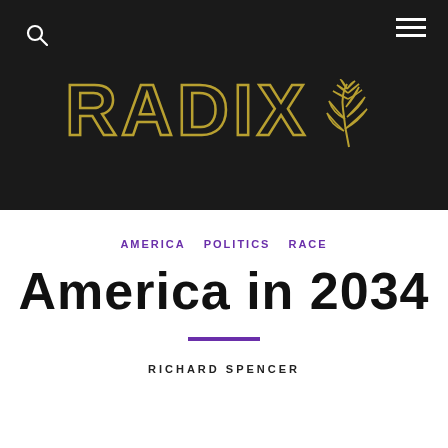[Figure (logo): RADIX logo with leaf/wheat emblem on black background, gold outlined text]
AMERICA   POLITICS   RACE
AMERICA IN 2034
RICHARD SPENCER